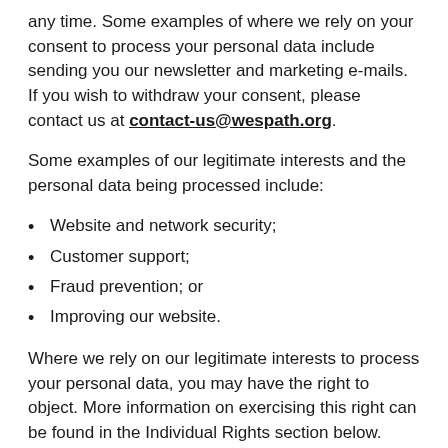any time. Some examples of where we rely on your consent to process your personal data include sending you our newsletter and marketing e-mails. If you wish to withdraw your consent, please contact us at contact-us@wespath.org.
Some examples of our legitimate interests and the personal data being processed include:
Website and network security;
Customer support;
Fraud prevention; or
Improving our website.
Where we rely on our legitimate interests to process your personal data, you may have the right to object. More information on exercising this right can be found in the Individual Rights section below.